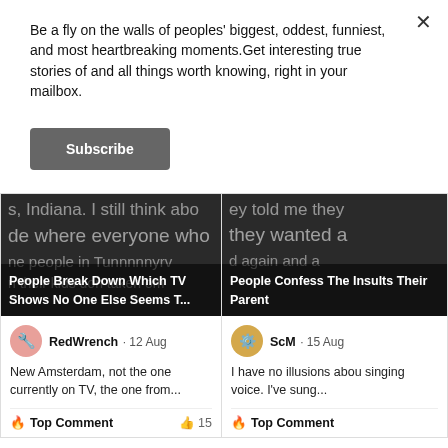Be a fly on the walls of peoples' biggest, oddest, funniest, and most heartbreaking moments.Get interesting true stories of and all things worth knowing, right in your mailbox.
Subscribe
[Figure (screenshot): Article card image for 'People Break Down Which TV Shows No One Else Seems T...' with dark background and overlapping text]
[Figure (screenshot): Article card image for 'People Confess The Insults Their Parent...' with dark background and overlapping text]
RedWrench · 12 Aug
New Amsterdam, not the one currently on TV, the one from...
Top Comment
15
ScM · 15 Aug
I have no illusions abou singing voice. I've sung...
Top Comment